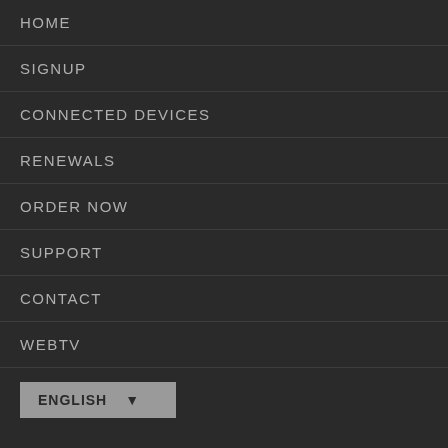HOME
SIGNUP
CONNECTED DEVICES
RENEWALS
ORDER NOW
SUPPORT
CONTACT
WEBTV
ENGLISH